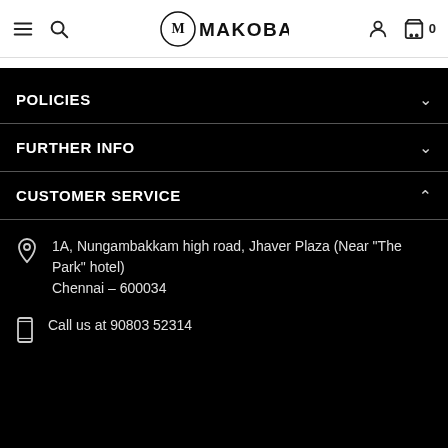MAKOBA
POLICIES
FURTHER INFO
CUSTOMER SERVICE
1A, Nungambakkam high road, Jhaver Plaza (Near "The Park" hotel)
Chennai - 600034
Call us at 90803 52314